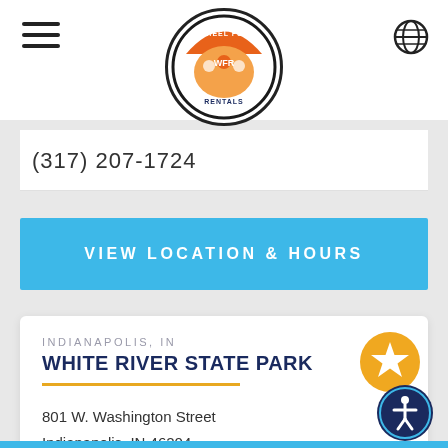[Figure (logo): Wheel Fun Rentals circular logo with cartoon characters]
(317) 207-1724
VIEW LOCATION & HOURS
INDIANAPOLIS, IN
WHITE RIVER STATE PARK
801 W. Washington Street
Indianapolis, IN 46204
(317) 730-2290